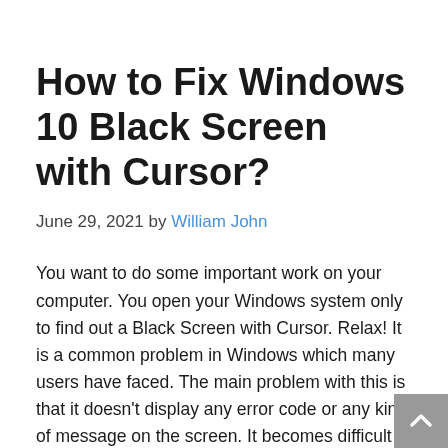How to Fix Windows 10 Black Screen with Cursor?
June 29, 2021 by William John
You want to do some important work on your computer. You open your Windows system only to find out a Black Screen with Cursor. Relax! It is a common problem in Windows which many users have faced. The main problem with this is that it doesn't display any error code or any kind of message on the screen. It becomes difficult to...